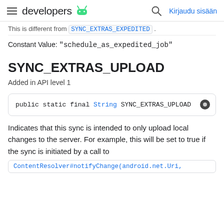developers [Android logo] | Search | Kirjaudu sisään
This is different from SYNC_EXTRAS_EXPEDITED.
Constant Value: "schedule_as_expedited_job"
SYNC_EXTRAS_UPLOAD
Added in API level 1
[Figure (screenshot): Code box showing: public static final String SYNC_EXTRAS_UPLOAD]
Indicates that this sync is intended to only upload local changes to the server. For example, this will be set to true if the sync is initiated by a call to
ContentResolver#notifyChange(android.net.Uri,